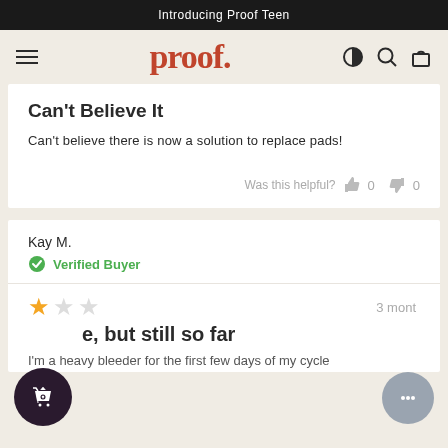Introducing Proof Teen
[Figure (logo): Proof brand logo with hamburger menu, proof. wordmark in red, and nav icons]
Can't Believe It
Can't believe there is now a solution to replace pads!
Was this helpful? 0 0
Kay M.
Verified Buyer
3 mont
e, but still so far
I'm a heavy bleeder for the first few days of my cycle